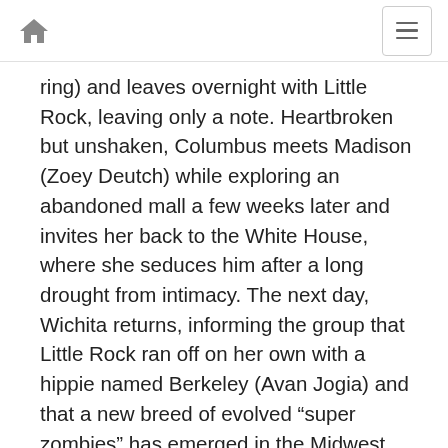Home | Menu
ring) and leaves overnight with Little Rock, leaving only a note. Heartbroken but unshaken, Columbus meets Madison (Zoey Deutch) while exploring an abandoned mall a few weeks later and invites her back to the White House, where she seduces him after a long drought from intimacy. The next day, Wichita returns, informing the group that Little Rock ran off on her own with a hippie named Berkeley (Avan Jogia) and that a new breed of evolved “super zombies” has emerged in the Midwest. The group leaves the White House and heads out to Graceland where they meet Nevada (Rosario Dawson), another survivor who shares Tallahassee’s affinity for Elvis. They also meet Albuquerque (Luke Wilson) and Flagstaff (Thomas Middleditch) who appear to be carbon copies of Tallahassee and Columbus. After a few super zombies attack, Tallahassee, Columbus and Wichita continue